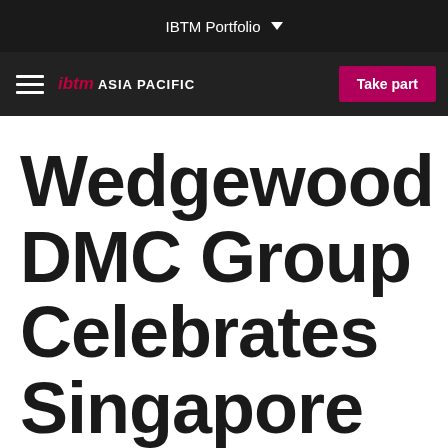IBTM Portfolio
ibtm ASIA PACIFIC | Take part
Wedgewood DMC Group Celebrates Singapore